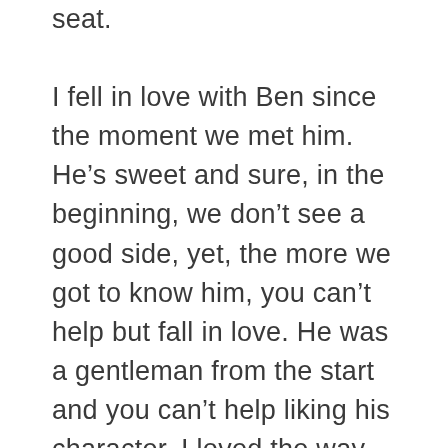seat.
I fell in love with Ben since the moment we met him. He’s sweet and sure, in the beginning, we don’t see a good side, yet, the more we got to know him, you can’t help but fall in love. He was a gentleman from the start and you can’t help liking his character. I loved the way you could see Ben falling in love with Kate first. The chemistry and the way he talked to her was so evident yet it felt like it wasn’t. He was fantastic at hiding his